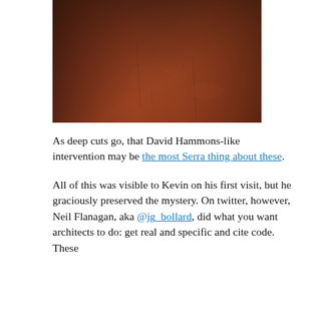[Figure (photo): Close-up photograph of a large weathered reddish-brown rusted metal surface, likely a Richard Serra steel sculpture, showing texture, scratches, and oxidation marks.]
As deep cuts go, that David Hammons-like intervention may be the most Serra thing about these.
All of this was visible to Kevin on his first visit, but he graciously preserved the mystery. On twitter, however, Neil Flanagan, aka @jg_bollard, did what you want architects to do: get real and specific and cite code. These